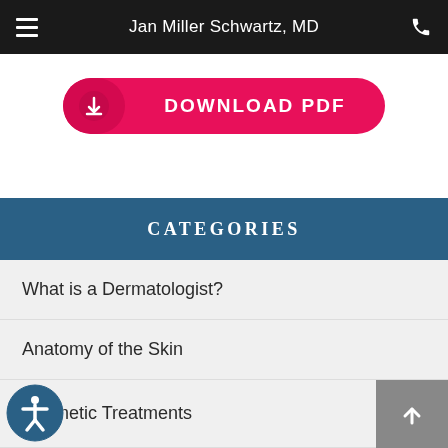Jan Miller Schwartz, MD
[Figure (screenshot): Download PDF button — pink/red rounded rectangle with download icon and 'DOWNLOAD PDF' label in white bold text]
CATEGORIES
What is a Dermatologist?
Anatomy of the Skin
Cosmetic Treatments
Skin Care Topics
Skin Conditions